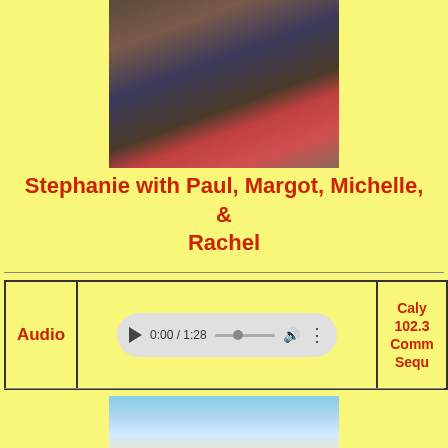[Figure (photo): Group family photo showing Stephanie with Paul, Margot, Michelle, and Rachel]
Stephanie with Paul, Margot, Michelle, & Rachel
| Audio | Player | Caly 102.3 Comm Sequ |
| --- | --- | --- |
| Audio | 0:00 / 1:28 | Caly 102.3 Comm Sequ |
[Figure (photo): Sky with clouds photo at bottom of page]